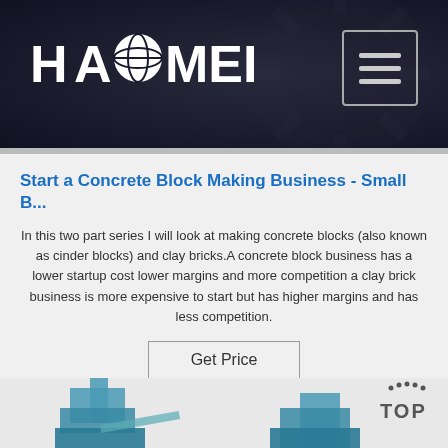[Figure (logo): Haomei logo with globe icon on dark background header, with hamburger menu button in top right]
Start a Concrete Block Making Business - Small B...
In this two part series I will look at making concrete blocks (also known as cinder blocks) and clay bricks.A concrete block business has a lower startup cost lower margins and more competition a clay brick business is more expensive to start but has higher margins and has less competition.
Get Price
[Figure (photo): Industrial concrete block making machinery in blue/teal color, with TOP navigation button in bottom right]